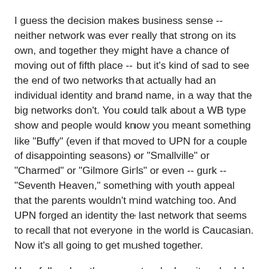I guess the decision makes business sense -- neither network was ever really that strong on its own, and together they might have a chance of moving out of fifth place -- but it's kind of sad to see the end of two networks that actually had an individual identity and brand name, in a way that the big networks don't. You could talk about a WB type show and people would know you meant something like "Buffy" (even if that moved to UPN for a couple of disappointing seasons) or "Smallville" or "Charmed" or "Gilmore Girls" or even -- gurk -- "Seventh Heaven," something with youth appeal that the parents wouldn't mind watching too. And UPN forged an identity the last network that seems to recall that not everyone in the world is Caucasian. Now it's all going to get mushed together.
Hopefully, when the new network plans its schedule, UPN's "Veronica Mars" will make the cut. I might as well put in a good word for the WB's "Reba," which has been one of the few good traditional sitcoms on the air for the last few years (though I haven't watched it this season, so maybe it's gone downhill). And the article's mention of the "Kids WB"